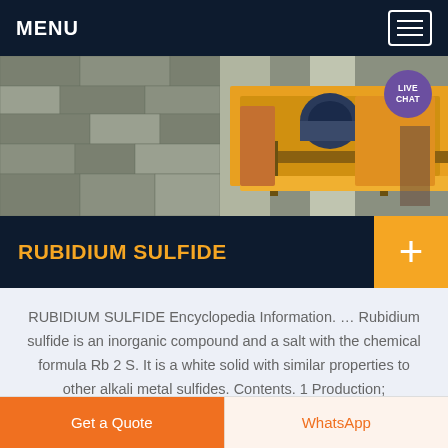MENU
[Figure (photo): Industrial machinery with yellow crusher/mill equipment mounted on a metal frame against a stone wall background. A purple speech bubble with 'LIVE CHAT' text appears in the top right corner.]
RUBIDIUM SULFIDE
RUBIDIUM SULFIDE Encyclopedia Information. … Rubidium sulfide is an inorganic compound and a salt with the chemical formula Rb 2 S. It is a white solid with similar properties to other alkali metal sulfides. Contents. 1 Production;
Get a Quote
WhatsApp